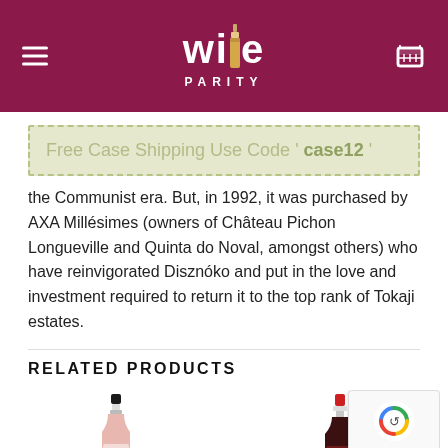Wine Parity — navigation header
Free Case Shipping Use Code ' case12 '
the Communist era. But, in 1992, it was purchased by AXA Millésimes (owners of Château Pichon Longueville and Quinta do Noval, amongst others) who have reinvigorated Disznóko and put in the love and investment required to return it to the top rank of Tokaji estates.
RELATED PRODUCTS
[Figure (photo): Two wine bottles — a rosé bottle on the left and a red wine bottle on the right — partially visible below the Related Products heading. A reCAPTCHA badge is overlaid at bottom right.]